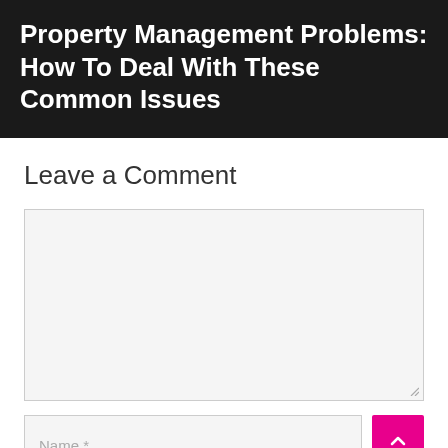Property Management Problems: How To Deal With These Common Issues
Leave a Comment
[Figure (other): Large empty comment text area input box with light grey background and resize handle in bottom right corner]
Name *